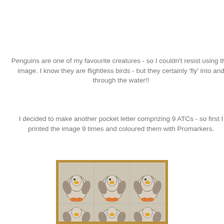Penguins are one of my favourite creatures - so I couldn't resist using this image. I know they are flightless birds - but they certainly 'fly' into and through the water!!
I decided to make another pocket letter comprizing 9 ATCs - so first I printed the image 9 times and coloured them with Promarkers.
[Figure (photo): A photo showing a sheet of paper with 6 visible penguin illustrations arranged in a 3x2 grid (partial view), coloured with markers in orange, yellow, and grey tones, placed on a wooden surface with a tan/gold frame border.]